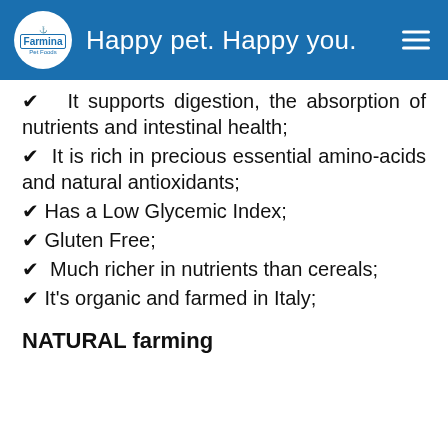Happy pet. Happy you.
✔ It supports digestion, the absorption of nutrients and intestinal health;
✔ It is rich in precious essential amino-acids and natural antioxidants;
✔ Has a Low Glycemic Index;
✔ Gluten Free;
✔ Much richer in nutrients than cereals;
✔ It's organic and farmed in Italy;
NATURAL farming